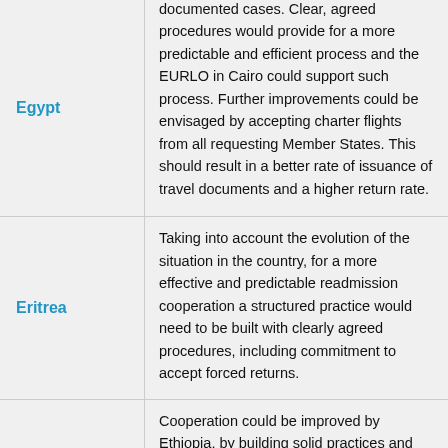| Country | Description |
| --- | --- |
| Egypt | documented cases. Clear, agreed procedures would provide for a more predictable and efficient process and the EURLO in Cairo could support such process. Further improvements could be envisaged by accepting charter flights from all requesting Member States. This should result in a better rate of issuance of travel documents and a higher return rate. |
| Eritrea | Taking into account the evolution of the situation in the country, for a more effective and predictable readmission cooperation a structured practice would need to be built with clearly agreed procedures, including commitment to accept forced returns. |
|  | Cooperation could be improved by Ethiopia, by building solid practices and decision |